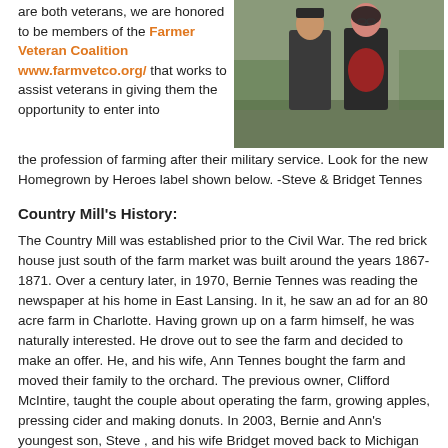are both veterans, we are honored to be members of the Farmer Veteran Coalition www.farmvetco.org/ that works to assist veterans in giving them the opportunity to enter into the profession of farming after their military service.  Look for the new Homegrown by Heroes label shown below.  -Steve & Bridget Tennes
[Figure (photo): Two people in military dress uniforms standing together outdoors]
Country Mill's History:
The Country Mill was established prior to the Civil War.  The red brick house just south of the farm market was built around the years 1867-1871.  Over a century later, in 1970, Bernie Tennes was reading the newspaper at his home in East Lansing.  In it, he saw an ad for an 80 acre farm in Charlotte.  Having grown up on a farm himself, he was naturally interested.  He drove out to see the farm and decided to make an offer.  He, and his wife,  Ann Tennes bought the farm and moved their family to the orchard.  The previous owner, Clifford McIntire, taught the couple about operating the farm, growing apples, pressing cider and making donuts.  In 2003, Bernie and Ann's youngest son, Steve , and his wife Bridget moved back to Michigan to take over operation of the family farm.  They currently live in red brick house on the farm with their family.  Over the years, the farm has grown along with the Tennes family to 213 acres which supports the lives of multiple family